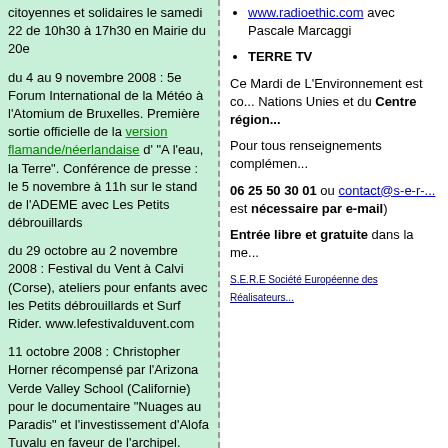citoyennes et solidaires le samedi 22 de 10h30 à 17h30 en Mairie du 20e
du 4 au 9 novembre 2008 : 5e Forum International de la Météo à l'Atomium de Bruxelles. Première sortie officielle de la version flamande/néerlandaise d' "A l'eau, la Terre". Conférence de presse : le 5 novembre à 11h sur le stand de l'ADEME avec Les Petits débrouillards
du 29 octobre au 2 novembre 2008 : Festival du Vent à Calvi (Corse), ateliers pour enfants avec les Petits débrouillards et Surf Rider. www.lefestivalduvent.com
11 octobre 2008 : Christopher Horner récompensé par l'Arizona Verde Valley School (Californie) pour le documentaire "Nuages au Paradis" et l'investissement d'Alofa Tuvalu en faveur de l'archipel. Débat et projection du documentaire.
9 octobre 2008 : Evénement Ashoka "Profession entrepreneur social" au cirque d'hiver Bouglione (Paris)
27 septembre 2008 : Forum
www.radioethic.com avec Pascale Marcaggi
TERRE TV
Ce Mardi de L'Environnement est co... Nations Unies et du Centre région...
Pour tous renseignements complémen...
06 25 50 30 01 ou contact@s-e-r-... est nécessaire par e-mail)
Entrée libre et gratuite dans la me...
S.E.R.E Société Européenne des Réalisateurs...